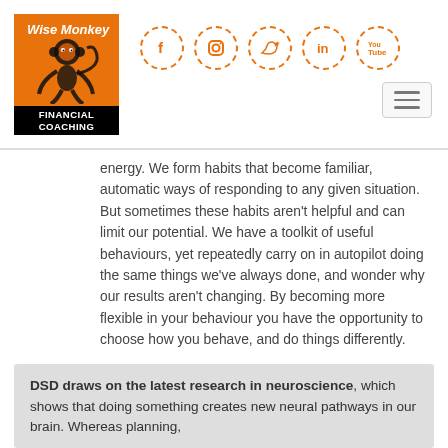[Figure (logo): Wise Monkey Financial Coaching logo — orange square with monkey illustration above black banner with white text FINANCIAL COACHING]
[Figure (infographic): Five social media icons (Facebook, Instagram, Twitter, LinkedIn, YouTube) in orange dashed circles]
[Figure (other): Hamburger menu button — three horizontal lines in a rounded rectangle]
energy. We form habits that become familiar, automatic ways of responding to any given situation. But sometimes these habits aren't helpful and can limit our potential. We have a toolkit of useful behaviours, yet repeatedly carry on in autopilot doing the same things we've always done, and wonder why our results aren't changing. By becoming more flexible in your behaviour you have the opportunity to choose how you behave, and do things differently.
DSD draws on the latest research in neuroscience, which shows that doing something creates new neural pathways in our brain. Whereas planning,